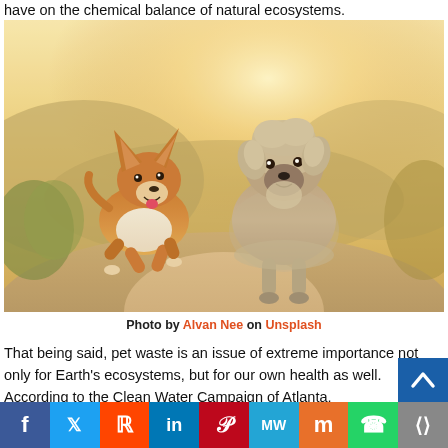have on the chemical balance of natural ecosystems.
[Figure (photo): Two dogs running on a dirt path outdoors — a Corgi on the left leaping mid-air, and a terrier mix on the right walking toward camera, with golden sunlit hills and foliage in the background.]
Photo by Alvan Nee on Unsplash
That being said, pet waste is an issue of extreme importance not only for Earth's ecosystems, but for our own health as well. According to the Clean Water Campaign of Atlanta,
f  𝕏  reddit  in  P  MW  m  WhatsApp  ⋯